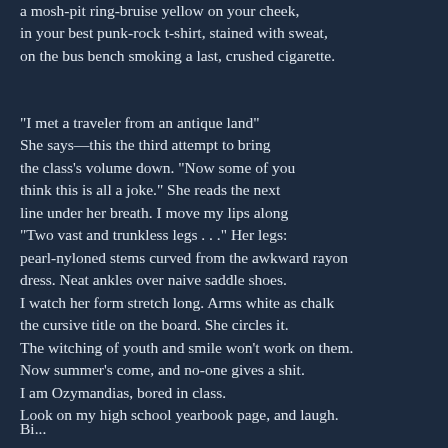a mosh-pit ring-bruise yellow on your cheek,
in your best punk-rock t-shirt, stained with sweat,
on the bus bench smoking a last, crushed cigarette.
"I met a traveler from an antique land"
She says—this the third attempt to bring
the class's volume down. "Now some of you
think this is all a joke." She reads the next
line under her breath. I move my lips along
"Two vast and trunkless legs . . ." Her legs:
pearl-nyloned stems curved from the awkward rayon
dress. Neat ankles over naive saddle shoes.
I watch her form stretch long. Arms white as chalk
the cursive title on the board. She circles it.
The witching of youth and smile won't work on them.
Now summer's come, and no-one gives a shit.
I am Ozymandias, bored in class.
Look on my high school yearbook page, and laugh.
Bi...